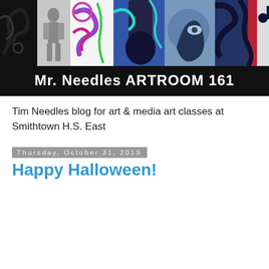[Figure (photo): Blog header banner showing colorful graffiti/mural art collage on black background with text 'Mr. Needles ARTROOM 161']
Tim Needles blog for art & media art classes at Smithtown H.S. East
Thursday, October 31, 2019
Happy Halloween!